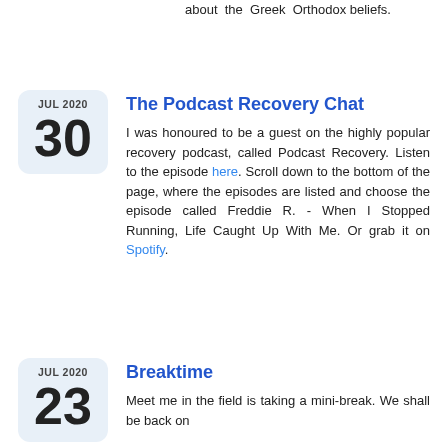about the Greek Orthodox beliefs.
The Podcast Recovery Chat
JUL 2020
30
I was honoured to be a guest on the highly popular recovery podcast, called Podcast Recovery. Listen to the episode here. Scroll down to the bottom of the page, where the episodes are listed and choose the episode called Freddie R. - When I Stopped Running, Life Caught Up With Me. Or grab it on Spotify.
Breaktime
JUL 2020
23
Meet me in the field is taking a mini-break. We shall be back on